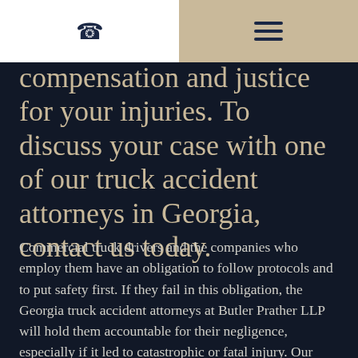[Phone icon] | [Hamburger menu icon]
compensation and justice for your injuries. To discuss your case with one of our truck accident attorneys in Georgia, contact us today.
Commercial truck drivers and the companies who employ them have an obligation to follow protocols and to put safety first. If they fail in this obligation, the Georgia truck accident attorneys at Butler Prather LLP will hold them accountable for their negligence, especially if it led to catastrophic or fatal injury. Our experienced trucking accident attorneys handle all types of commercial trucking collisions, including: